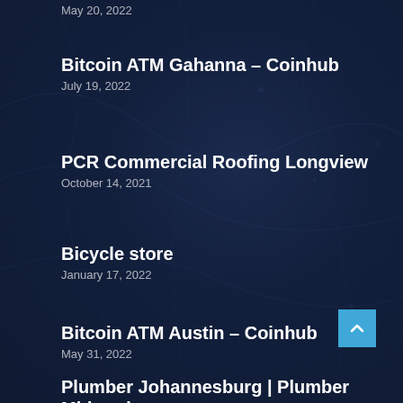May 20, 2022
Bitcoin ATM Gahanna – Coinhub
July 19, 2022
PCR Commercial Roofing Longview
October 14, 2021
Bicycle store
January 17, 2022
Bitcoin ATM Austin – Coinhub
May 31, 2022
Plumber Johannesburg | Plumber Midrand
August 15, 2022